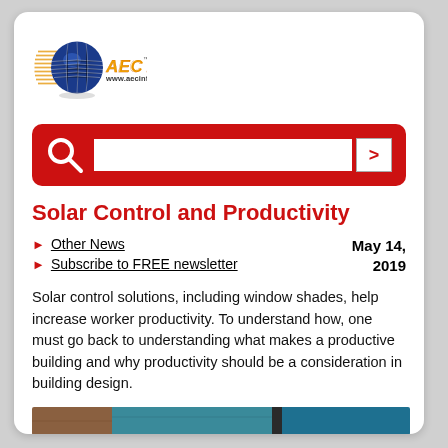[Figure (logo): AEC Info logo with globe graphic and text 'AEC Info TM www.aecinfo.com']
[Figure (other): Red search bar with magnifying glass icon, text input field, and arrow submit button]
Solar Control and Productivity
Other News
Subscribe to FREE newsletter
May 14, 2019
Solar control solutions, including window shades, help increase worker productivity. To understand how, one must go back to understanding what makes a productive building and why productivity should be a consideration in building design.
[Figure (photo): Partial photo showing what appears to be a building interior or window treatment, partially visible at the bottom of the page]